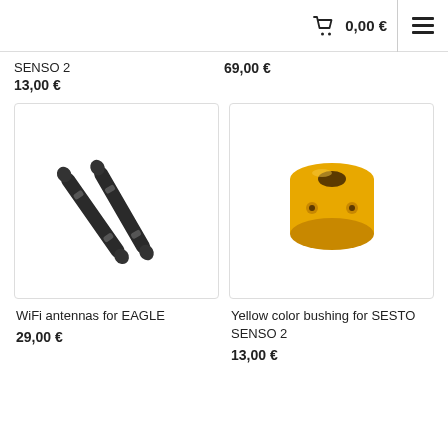0,00 €
SENSO 2
13,00 €
69,00 €
[Figure (photo): Two black WiFi antenna rods for EAGLE product]
WiFi antennas for EAGLE
29,00 €
[Figure (photo): Yellow color cylindrical bushing/collar piece for SESTO SENSO 2]
Yellow color bushing for SESTO SENSO 2
13,00 €